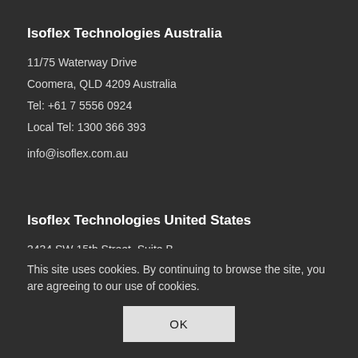Isoflex Technologies Australia
11/75 Waterway Drive
Coomera, QLD 4209 Australia
Tel: +61 7 5556 0924
Local Tel: 1300 366 393
info@isoflex.com.au
Isoflex Technologies United States
3434 SW 15th Street, Suite B
Deerfield Beach, FL 33442 USA
Tel: 561-210-5172
Toll Free: 888-327-9260
info@isoflextech.com
This site uses cookies. By continuing to browse the site, you are agreeing to our use of cookies.